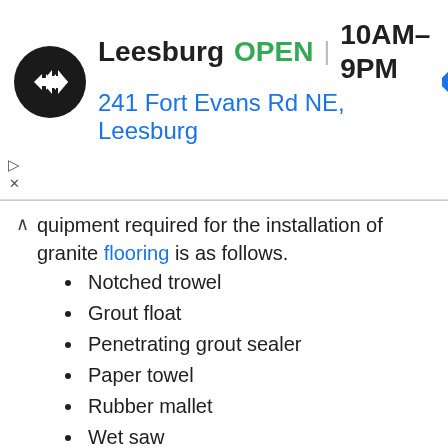[Figure (logo): Ace Hardware store ad banner showing logo (black circle with double arrow), store location Leesburg, OPEN status, hours 10AM-9PM, address 241 Fort Evans Rd NE Leesburg, and blue navigation diamond icon]
quipment required for the installation of granite flooring is as follows.
Notched trowel
Grout float
Penetrating grout sealer
Paper towel
Rubber mallet
Wet saw
Plastic spacers
Floor tiles- made of granite
Grout sponge